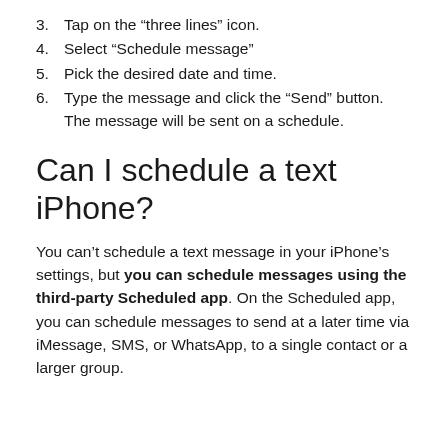3. Tap on the “three lines” icon.
4. Select “Schedule message”
5. Pick the desired date and time.
6. Type the message and click the “Send” button. The message will be sent on a schedule.
Can I schedule a text iPhone?
You can’t schedule a text message in your iPhone’s settings, but you can schedule messages using the third-party Scheduled app. On the Scheduled app, you can schedule messages to send at a later time via iMessage, SMS, or WhatsApp, to a single contact or a larger group.